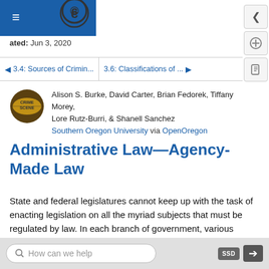Updated: Jun 3, 2020
◄ 3.4: Sources of Crimin...  |  3.6: Classifications of ...  ►
Alison S. Burke, David Carter, Brian Fedorek, Tiffany Morey, Lore Rutz-Burri, & Shanell Sanchez
Southern Oregon University via OpenOregon
Administrative Law—Agency-Made Law
State and federal legislatures cannot keep up with the task of enacting legislation on all the myriad subjects that must be regulated by law. In each branch of government, various administrative agencies exist with authority to create administrative law. At the federal